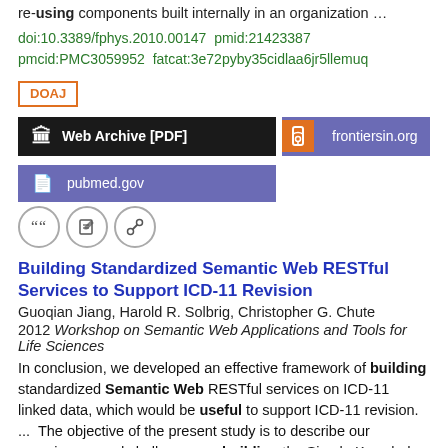re-using components built internally in an organization ...
doi:10.3389/fphys.2010.00147  pmid:21423387
pmcid:PMC3059952  fatcat:3e72pyby35cidlaa6jr5llemuq
DOAJ
[Figure (other): Web Archive [PDF] button (black), frontiersin.org button (purple with orange lock icon), pubmed.gov button (purple)]
[Figure (other): Three circular icon buttons: quote, edit, and link]
Building Standardized Semantic Web RESTful Services to Support ICD-11 Revision
Guoqian Jiang, Harold R. Solbrig, Christopher G. Chute
2012 Workshop on Semantic Web Applications and Tools for Life Sciences
In conclusion, we developed an effective framework of building standardized Semantic Web RESTful services on ICD-11 linked data, which would be useful to support ICD-11 revision.  ...  The objective of the present study is to describe our experiences and challenges on building the Simple Knowledge Organization System (SKOS) compliant Semantic Web RESTful services that aim to support  ...  Acknowledgement The authors would like to thank two